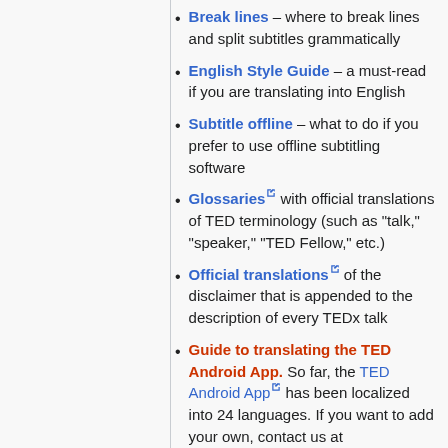Break lines – where to break lines and split subtitles grammatically
English Style Guide – a must-read if you are translating into English
Subtitle offline – what to do if you prefer to use offline subtitling software
Glossaries with official translations of TED terminology (such as "talk," "speaker," "TED Fellow," etc.)
Official translations of the disclaimer that is appended to the description of every TEDx talk
Guide to translating the TED Android App. So far, the TED Android App has been localized into 24 languages. If you want to add your own, contact us at translate@ted.com.